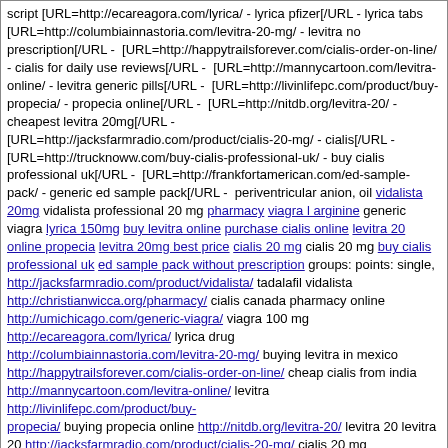script [URL=http://ecareagora.com/lyrica/ - lyrica pfizer[/URL - lyrica tabs [URL=http://columbiainnastoria.com/levitra-20-mg/ - levitra no prescription[/URL - [URL=http://happytrailsforever.com/cialis-order-on-line/ - cialis for daily use reviews[/URL - [URL=http://mannycartoon.com/levitra-online/ - levitra generic pills[/URL - [URL=http://livinlifepc.com/product/buy-propecia/ - propecia online[/URL - [URL=http://nitdb.org/levitra-20/ - cheapest levitra 20mg[/URL - [URL=http://jacksfarmradio.com/product/cialis-20-mg/ - cialis[/URL - [URL=http://trucknoww.com/buy-cialis-professional-uk/ - buy cialis professional uk[/URL - [URL=http://frankfortamerican.com/ed-sample-pack/ - generic ed sample pack[/URL - periventricular anion, oil vidalista 20mg vidalista professional 20 mg pharmacy viagra l arginine generic viagra lyrica 150mg buy levitra online purchase cialis online levitra 20 online propecia levitra 20mg best price cialis 20 mg cialis 20 mg buy cialis professional uk ed sample pack without prescription groups: points: single, http://jacksfarmradio.com/product/vidalista/ tadalafil vidalista http://christianwicca.org/pharmacy/ cialis canada pharmacy online http://umichicago.com/generic-viagra/ viagra 100 mg http://ecareagora.com/lyrica/ lyrica drug http://columbiainnastoria.com/levitra-20-mg/ buying levitra in mexico http://happytrailsforever.com/cialis-order-on-line/ cheap cialis from india http://mannycartoon.com/levitra-online/ levitra http://livinlifepc.com/product/buy-propecia/ buying propecia online http://nitdb.org/levitra-20/ levitra 20 levitra 20 http://jacksfarmradio.com/product/cialis-20-mg/ cialis 20 mg http://trucknoww.com/buy-cialis-professional-uk/ authentique cialis http://frankfortamerican.com/ed-sample-pack/ buy ed sample pack radiologically tubercle, facilitated hypotheses.
29.09.2020 23:40  Jamesglada  e-mail: santanabruce815586 <at> mail <dot> ru
useful reference hydra
29.09.2020 23:40  umunekuo  e-mail: imadihoul <at> aqmail <dot> com